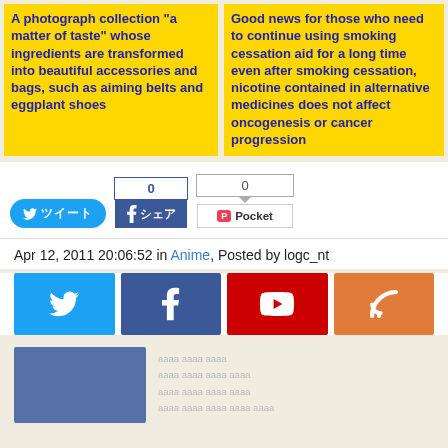A photograph collection "a matter of taste" whose ingredients are transformed into beautiful accessories and bags, such as aiming belts and eggplant shoes
Good news for those who need to continue using smoking cessation aid for a long time even after smoking cessation, nicotine contained in alternative medicines does not affect oncogenesis or cancer progression
[Figure (screenshot): Share buttons: Twitter tweet button, Facebook like counter (0), Pocket save button (0)]
Apr 12, 2011 20:06:52 in Anime, Posted by logc_nt
[Figure (screenshot): Social media icon bar: Twitter (blue), Facebook (dark blue), YouTube (red), RSS (orange)]
[Figure (screenshot): Bottom area with Facebook plugin box (blue rectangle) and faded text content]